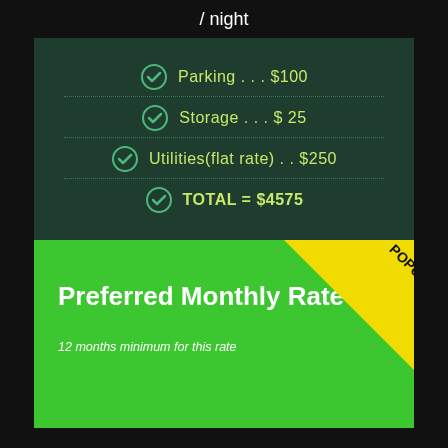/ night
Parking . . . $100
Storage . . . $ 25
Utilities(flat rate) . . $250
TOTAL = $4575
Preferred Monthly Rate
12 months minimum for this rate